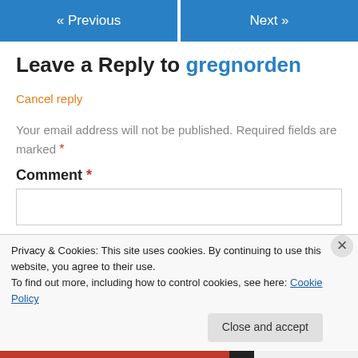« Previous   Next »
Leave a Reply to gregnorden
Cancel reply
Your email address will not be published. Required fields are marked *
Comment *
Privacy & Cookies: This site uses cookies. By continuing to use this website, you agree to their use.
To find out more, including how to control cookies, see here: Cookie Policy
Close and accept